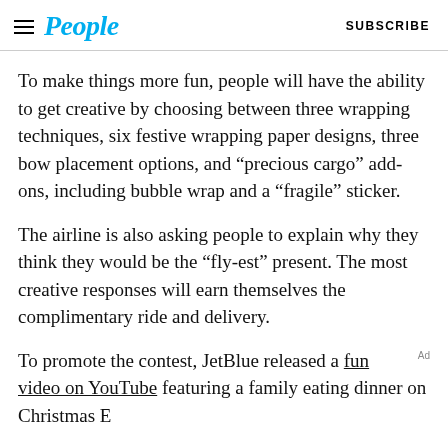People  SUBSCRIBE
To make things more fun, people will have the ability to get creative by choosing between three wrapping techniques, six festive wrapping paper designs, three bow placement options, and “precious cargo” add-ons, including bubble wrap and a “fragile” sticker.
The airline is also asking people to explain why they think they would be the “fly-est” present. The most creative responses will earn themselves the complimentary ride and delivery.
To promote the contest, JetBlue released a fun video on YouTube featuring a family eating dinner on Christmas E…